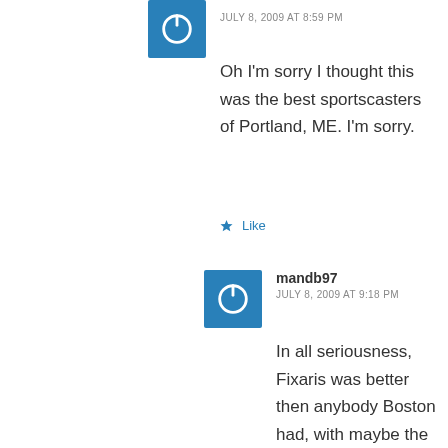[Figure (other): Blue square avatar with white power button icon]
JULY 8, 2009 AT 8:59 PM
Oh I'm sorry I thought this was the best sportscasters of Portland, ME. I'm sorry.
Like
[Figure (other): Blue square avatar with white power button icon for user mandb97]
mandb97
JULY 8, 2009 AT 9:18 PM
In all seriousness, Fixaris was better then anybody Boston had, with maybe the exception of Gillis. He groomed a lot of talent that works in Boston and